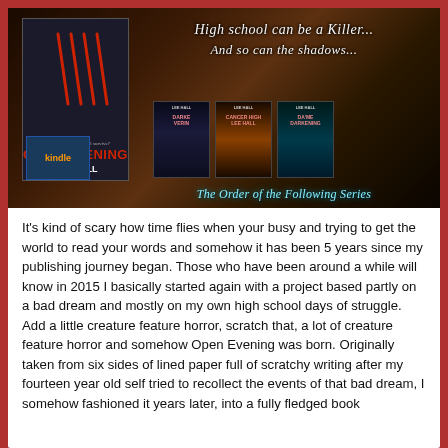[Figure (illustration): Book cover promotional image for 'Open Evening' by Lee Hall showing horror book covers against a dark woodland background with text 'High school can be a Killer... And so can the shadows...' and 'The Order of the Following Series']
It's kind of scary how time flies when your busy and trying to get the world to read your words and somehow it has been 5 years since my publishing journey began. Those who have been around a while will know in 2015 I basically started again with a project based partly on a bad dream and mostly on my own high school days of struggle. Add a little creature feature horror, scratch that, a lot of creature feature horror and somehow Open Evening was born. Originally taken from six sides of lined paper full of scratchy writing after my fourteen year old self tried to recollect the events of that bad dream, I somehow fashioned it years later, into a fully fledged book